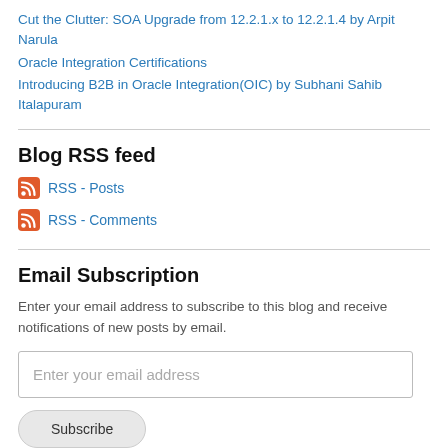Cut the Clutter: SOA Upgrade from 12.2.1.x to 12.2.1.4 by Arpit Narula
Oracle Integration Certifications
Introducing B2B in Oracle Integration(OIC) by Subhani Sahib Italapuram
Blog RSS feed
RSS - Posts
RSS - Comments
Email Subscription
Enter your email address to subscribe to this blog and receive notifications of new posts by email.
Enter your email address